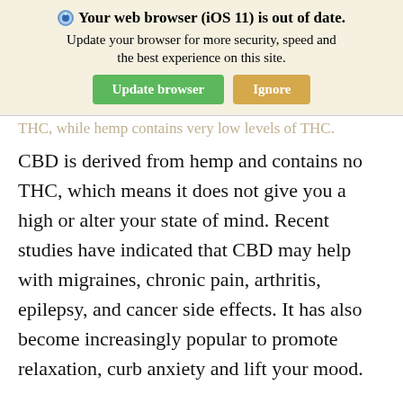[Figure (screenshot): Browser update warning banner with title 'Your web browser (iOS 11) is out of date.', subtitle 'Update your browser for more security, speed and the best experience on this site.', and two buttons: 'Update browser' (green) and 'Ignore' (tan/orange).]
THC, while hemp contains very low levels of THC.
CBD is derived from hemp and contains no THC, which means it does not give you a high or alter your state of mind. Recent studies have indicated that CBD may help with migraines, chronic pain, arthritis, epilepsy, and cancer side effects. It has also become increasingly popular to promote relaxation, curb anxiety and lift your mood.
With much research still to be done on this growing product category, Zupan’s Markets has recently introduced a variety of CBD infused beverages to its